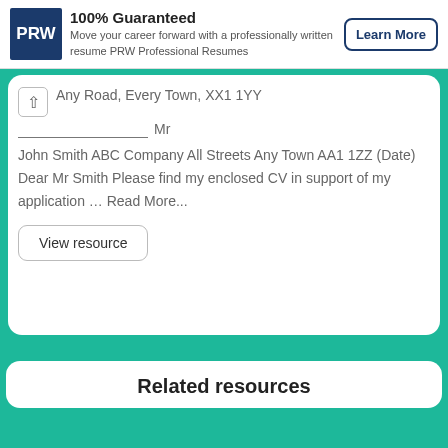[Figure (logo): PRW logo - dark blue square with white PRW text]
100% Guaranteed
Move your career forward with a professionally written resume PRW Professional Resumes
Learn More
Any Road, Every Town, XX1 1YY
Mr
John Smith ABC Company All Streets Any Town AA1 1ZZ (Date) Dear Mr Smith Please find my enclosed CV in support of my application … Read More...
View resource
Related resources